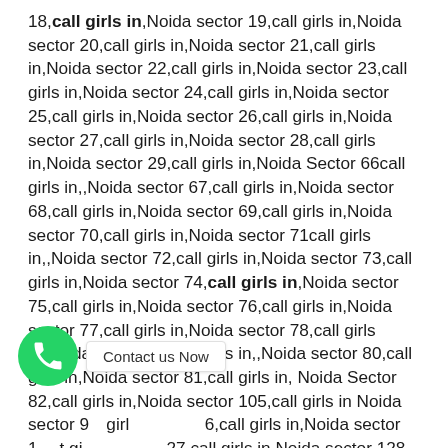18,call girls in,Noida sector 19,call girls in,Noida sector 20,call girls in,Noida sector 21,call girls in,Noida sector 22,call girls in,Noida sector 23,call girls in,Noida sector 24,call girls in,Noida sector 25,call girls in,Noida sector 26,call girls in,Noida sector 27,call girls in,Noida sector 28,call girls in,Noida sector 29,call girls in,Noida Sector 66call girls in,,Noida sector 67,call girls in,Noida sector 68,call girls in,Noida sector 69,call girls in,Noida sector 70,call girls in,Noida sector 71call girls in,,Noida sector 72,call girls in,Noida sector 73,call girls in,Noida sector 74,call girls in,Noida sector 75,call girls in,Noida sector 76,call girls in,Noida sector 77,call girls in,Noida sector 78,call girls in,Noida sector 79,call girls in,,Noida sector 80,call girls in,Noida sector 81,call girls in, Noida Sector 82,call girls in,Noida sector 105,call girls in Noida sector 9…,call girls in Noida sector 1…,call girls in Noida sector 27,call girls in Noida sector 128 ,call girls in Noida sector 129,call girls in Noida
[Figure (infographic): WhatsApp contact button (green circle with phone icon) and 'Contact us Now' text box overlay]